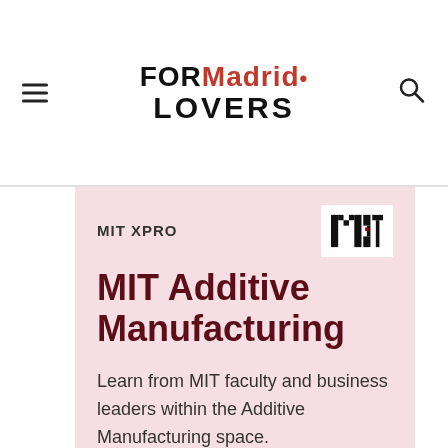FOR Madrid Lovers
[Figure (logo): MIT XPRO logo with MIT letters in block style]
MIT Additive Manufacturing
Learn from MIT faculty and business leaders within the Additive Manufacturing space.